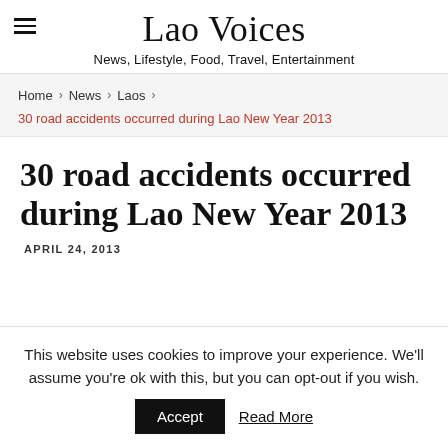Lao Voices
News, Lifestyle, Food, Travel, Entertainment
Home > News > Laos >
30 road accidents occurred during Lao New Year 2013
30 road accidents occurred during Lao New Year 2013
APRIL 24, 2013
This website uses cookies to improve your experience. We'll assume you're ok with this, but you can opt-out if you wish.
Accept   Read More